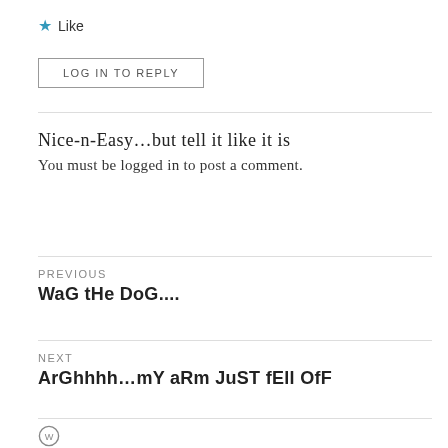★ Like
LOG IN TO REPLY
Nice-n-Easy…but tell it like it is
You must be logged in to post a comment.
PREVIOUS
WaG tHe DoG....
NEXT
ArGhhhh…mY aRm JuST fEll OfF
[Figure (logo): WordPress logo circle]